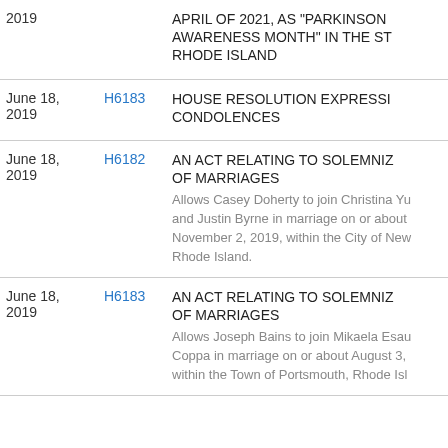| Date | Bill | Description |
| --- | --- | --- |
| 2019 |  | APRIL OF 2021, AS "PARKINSON AWARENESS MONTH" IN THE ST RHODE ISLAND |
| June 18, 2019 | H6183 | HOUSE RESOLUTION EXPRESSI CONDOLENCES |
| June 18, 2019 | H6182 | AN ACT RELATING TO SOLEMNIZ OF MARRIAGES
Allows Casey Doherty to join Christina Yu and Justin Byrne in marriage on or about November 2, 2019, within the City of New Rhode Island. |
| June 18, 2019 | H6183 | AN ACT RELATING TO SOLEMNIZ OF MARRIAGES
Allows Joseph Bains to join Mikaela Esau Coppa in marriage on or about August 3, within the Town of Portsmouth, Rhode Isl |